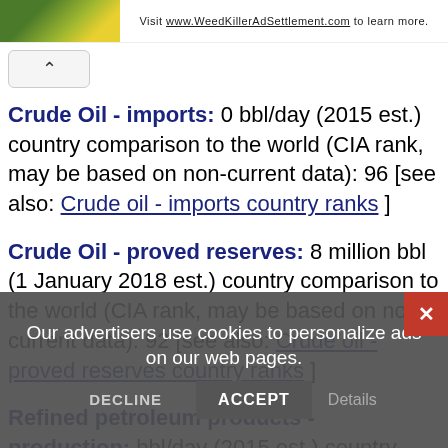Visit www.WeedKillerAdSettlement.com to learn more.
Crude Oil - imports: 0 bbl/day (2015 est.) country comparison to the world (CIA rank, may be based on non-current data): 96 [see also: Crude oil - imports country ranks ]
Crude Oil - proved reserves: 8 million bbl (1 January 2018 est.) country comparison to the world (CIA rank, may be based on non-current data): 92 [see also: Crude oil - proved reserves country ranks ]
Refined petroleum products - production: bbl/day (2015 est.) country comparison to the world (CIA rank, may be based on non-current data): 118 [see also:
Our advertisers use cookies to personalize ads on our web pages. ACCEPT DECLINE Details